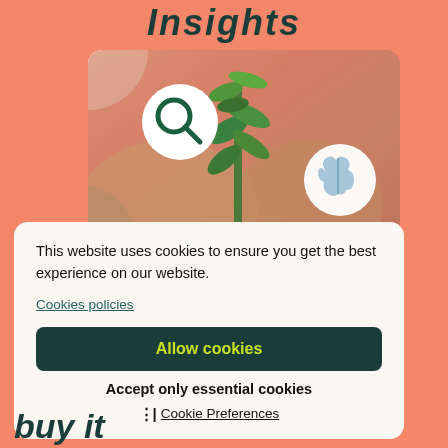Insights
[Figure (illustration): A card image showing hands holding a green plant with decorative circular icons (magnifying glass and brain) overlaid on a salmon/coral background with green shape accents]
This website uses cookies to ensure you get the best experience on our website.
Cookies policies
Allow cookies
Accept only essential cookies
Cookie Preferences
buy it